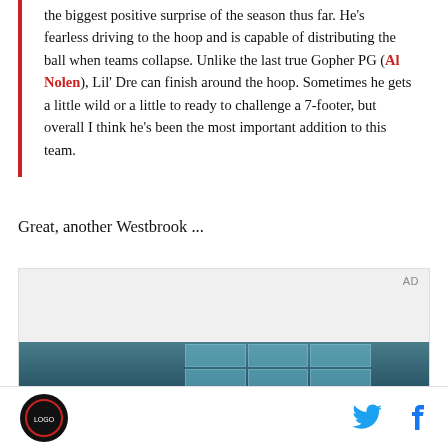the biggest positive surprise of the season thus far. He's fearless driving to the hoop and is capable of distributing the ball when teams collapse. Unlike the last true Gopher PG (Al Nolen), Lil' Dre can finish around the hoop. Sometimes he gets a little wild or a little to ready to challenge a 7-footer, but overall I think he's been the most important addition to this team.
Great, another Westbrook ...
[Figure (other): Advertisement box with AD label and a partial photo showing a person near windows with a blue/teal color scheme]
Site logo | Twitter icon | Facebook icon